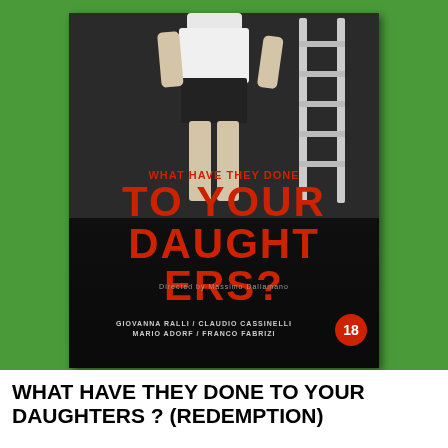[Figure (photo): A photograph of a DVD/VHS case for the film 'What Have They Done to Your Daughters?' on a green background. The case features a black-and-white image of a woman standing next to a ladder, with bold red title text. Credits list Giovanna Ralli, Claudio Cassinelli, Mario Adorf, Franco Fabrizi. An 18 rating badge is visible in the bottom-right of the case.]
WHAT HAVE THEY DONE TO YOUR DAUGHTERS ? (REDEMPTION)